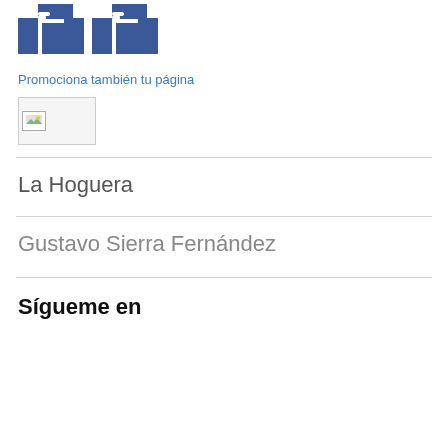[Figure (logo): Facebook logo icon (blue square with white 'f' letters, partial/cropped view)]
Promociona también tu página
[Figure (photo): Broken/missing image placeholder icon]
La Hoguera
Gustavo Sierra Fernández
Sígueme en